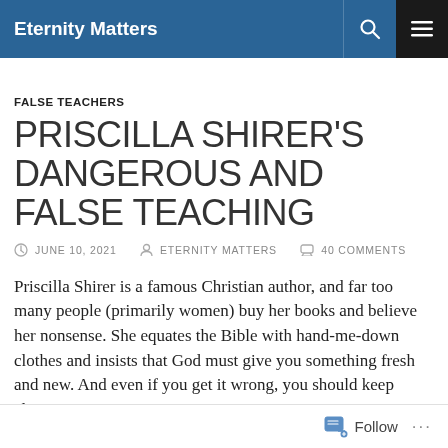Eternity Matters
FALSE TEACHERS
PRISCILLA SHIRER'S DANGEROUS AND FALSE TEACHING
JUNE 10, 2021   ETERNITY MATTERS   40 COMMENTS
Priscilla Shirer is a famous Christian author, and far too many people (primarily women) buy her books and believe her nonsense. She equates the Bible with hand-me-down clothes and insists that God must give you something fresh and new. And even if you get it wrong, you should keep claiming to